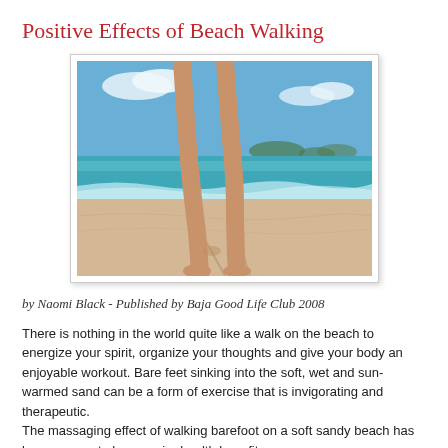Positive Effects of Beach Walking
[Figure (photo): Legs and feet of a person walking barefoot on a sandy beach, with turquoise ocean water and waves in the background, and green hills visible on the horizon.]
by Naomi Black - Published by Baja Good Life Club 2008
There is nothing in the world quite like a walk on the beach to energize your spirit, organize your thoughts and give your body an enjoyable workout. Bare feet sinking into the soft, wet and sun-warmed sand can be a form of exercise that is invigorating and therapeutic.
The massaging effect of walking barefoot on a soft sandy beach has been proven to have major health benefits.
Walking barefoot has even more and while at the same time is...